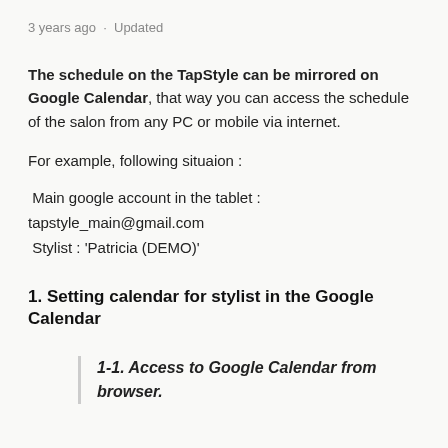3 years ago · Updated
The schedule on the TapStyle can be mirrored on Google Calendar, that way you can access the schedule of the salon from any PC or mobile via internet.
For example, following situaion :
Main google account in the tablet :
tapstyle_main@gmail.com
 Stylist : 'Patricia (DEMO)'
1. Setting calendar for stylist in the Google Calendar
1-1. Access to Google Calendar from browser.